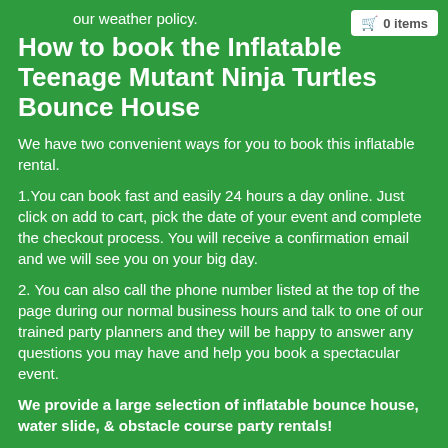our weather policy.
0 items
How to book the Inflatable Teenage Mutant Ninja Turtles Bounce House
We have two convenient ways for you to book this inflatable rental.
1.You can book fast and easily 24 hours a day online. Just click on add to cart, pick the date of your event and complete the checkout process. You will receive a confirmation email and we will see you on your big day.
2. You can also call the phone number listed at the top of the page during our normal business hours and talk to one of our trained party planners and they will be happy to answer any questions you may have and help you book a spectacular event.
We provide a large selection of inflatable bounce house, water slide, & obstacle course party rentals!